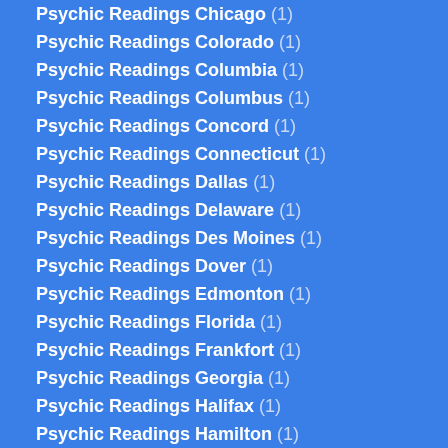Psychic Readings Chicago (1)
Psychic Readings Colorado (1)
Psychic Readings Columbia (1)
Psychic Readings Columbus (1)
Psychic Readings Concord (1)
Psychic Readings Connecticut (1)
Psychic Readings Dallas (1)
Psychic Readings Delaware (1)
Psychic Readings Des Moines (1)
Psychic Readings Dover (1)
Psychic Readings Edmonton (1)
Psychic Readings Florida (1)
Psychic Readings Frankfort (1)
Psychic Readings Georgia (1)
Psychic Readings Halifax (1)
Psychic Readings Hamilton (1)
Psychic Readings Harrisburg (1)